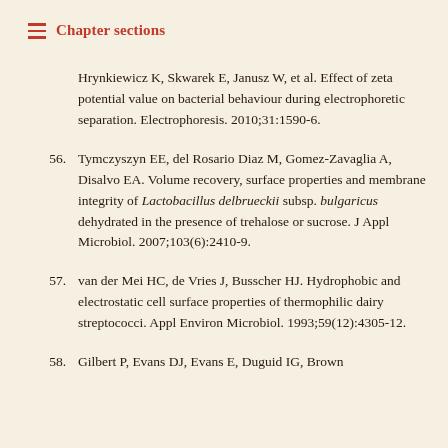Chapter sections
Hrynkiewicz K, Skwarek E, Janusz W, et al. Effect of zeta potential value on bacterial behaviour during electrophoretic separation. Electrophoresis. 2010;31:1590-6.
56. Tymczyszyn EE, del Rosario Diaz M, Gomez-Zavaglia A, Disalvo EA. Volume recovery, surface properties and membrane integrity of Lactobacillus delbrueckii subsp. bulgaricus dehydrated in the presence of trehalose or sucrose. J Appl Microbiol. 2007;103(6):2410-9.
57. van der Mei HC, de Vries J, Busscher HJ. Hydrophobic and electrostatic cell surface properties of thermophilic dairy streptococci. Appl Environ Microbiol. 1993;59(12):4305-12.
58. Gilbert P, Evans DJ, Evans E, Duguid IG, Brown